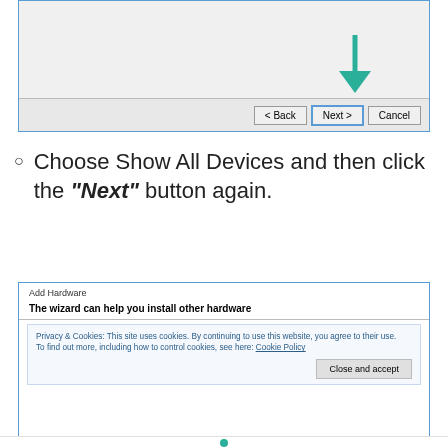[Figure (screenshot): Windows Add Hardware wizard dialog showing Back, Next, and Cancel buttons with a teal arrow pointing to the Next button]
Choose Show All Devices and then click the “Next” button again.
[Figure (screenshot): Add Hardware wizard dialog with title 'The wizard can help you install other hardware' and a Privacy & Cookies cookie consent overlay with a Close and accept button]